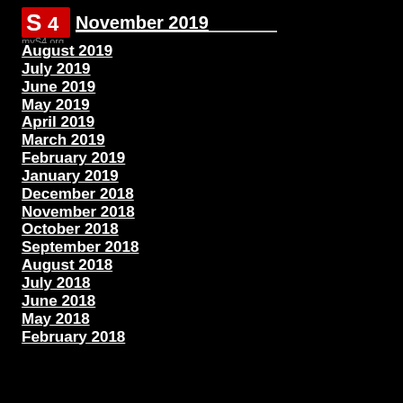[Figure (logo): S4 logo with red/white graphic overlaid on text reading November 2019]
August 2019
July 2019
June 2019
May 2019
April 2019
March 2019
February 2019
January 2019
December 2018
November 2018
October 2018
September 2018
August 2018
July 2018
June 2018
May 2018
February 2018